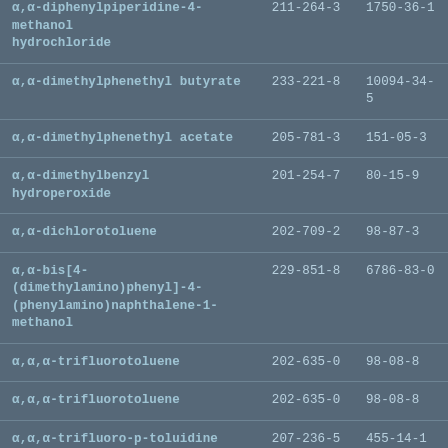| Name | EC No. | CAS No. |
| --- | --- | --- |
| α,α-diphenylpiperidine-4-methanol hydrochloride | 211-264-3 | 1750-36-1 |
| α,α-dimethylphenethyl butyrate | 233-221-8 | 10094-34-5 |
| α,α-dimethylphenethyl acetate | 205-781-3 | 151-05-3 |
| α,α-dimethylbenzyl hydroperoxide | 201-254-7 | 80-15-9 |
| α,α-dichlorotoluene | 202-709-2 | 98-87-3 |
| α,α-bis[4-(dimethylamino)phenyl]-4-(phenylamino)naphthalene-1-methanol | 229-851-8 | 6786-83-0 |
| α,α,α-trifluorotoluene | 202-635-0 | 98-08-8 |
| α,α,α-trifluorotoluene | 202-635-0 | 98-08-8 |
| α,α,α-trifluoro-p-toluidine | 207-236-5 | 455-14-1 |